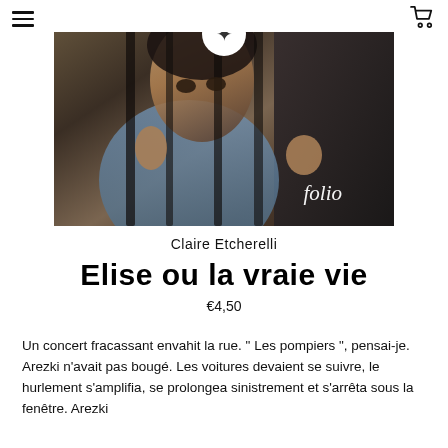Navigation header with hamburger menu and cart icon
[Figure (photo): Book cover of 'Elise ou la vraie vie' from Folio edition showing a woman behind bars with a headscarf, black and white toned photograph, with the Folio logo in the bottom right and a circular portrait logo at the top center.]
Claire Etcherelli
Elise ou la vraie vie
€4,50
Un concert fracassant envahit la rue. " Les pompiers ", pensai-je. Arezki n'avait pas bougé. Les voitures devaient se suivre, le hurlement s'amplifia, se prolongea sinistrement et s'arrêta sous la fenêtre. Arezki